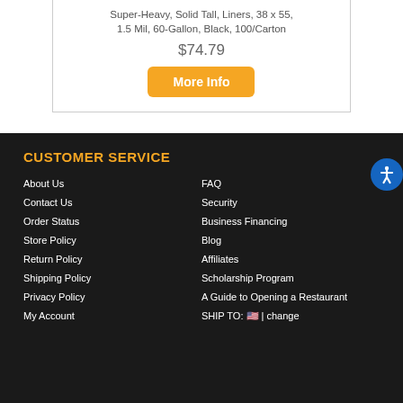Super-Heavy, Solid Tall, Liners, 38 x 55, 1.5 Mil, 60-Gallon, Black, 100/Carton
$74.79
More Info
CUSTOMER SERVICE
About Us
Contact Us
Order Status
Store Policy
Return Policy
Shipping Policy
Privacy Policy
My Account
FAQ
Security
Business Financing
Blog
Affiliates
Scholarship Program
A Guide to Opening a Restaurant
SHIP TO: 🇺🇸 | change